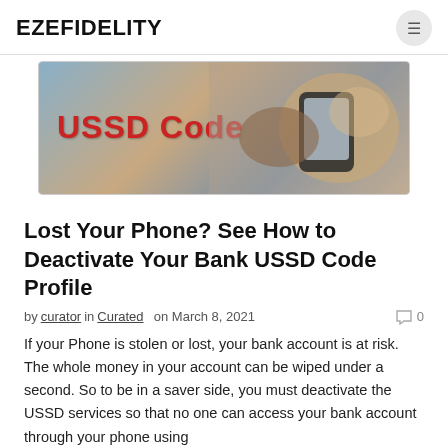EZEFIDELITY
[Figure (photo): A person holding a smartphone with text overlay 'USSD Code' in bold red letters on a muted blue-gray background]
Lost Your Phone? See How to Deactivate Your Bank USSD Code Profile
by curator in Curated on March 8, 2021  0
If your Phone is stolen or lost, your bank account is at risk. The whole money in your account can be wiped under a second. So to be in a saver side, you must deactivate the USSD services so that no one can access your bank account through your phone using